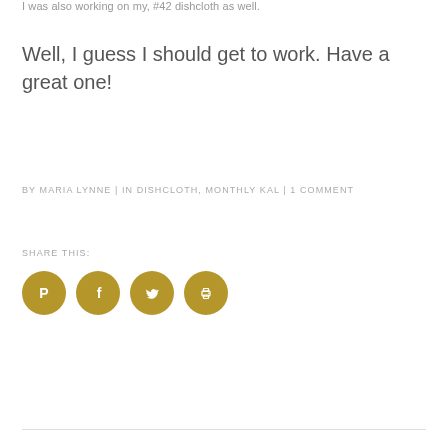I was also working on my #42 dishcloth as well.
Well, I guess I should get to work. Have a great one!
BY MARIA LYNNE | IN DISHCLOTH, MONTHLY KAL | 1 COMMENT
SHARE THIS:
[Figure (other): Four circular gold social share icon buttons: Pinterest, Facebook, Twitter, Print]